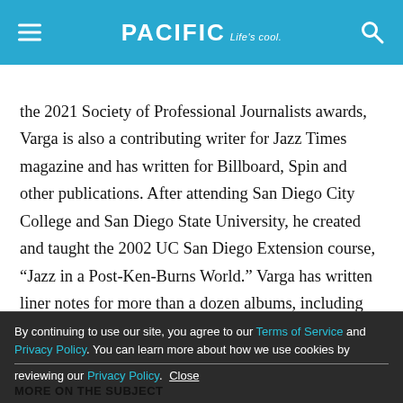PACIFIC Life's cool.
the 2021 Society of Professional Journalists awards, Varga is also a contributing writer for Jazz Times magazine and has written for Billboard, Spin and other publications. After attending San Diego City College and San Diego State University, he created and taught the 2002 UC San Diego Extension course, “Jazz in a Post-Ken-Burns World.” Varga has written liner notes for more than a dozen albums, including by jazz sax greats James Moody and Michael Brecker, and contributed two chapters to the book, “Dylan: Disc By
By continuing to use our site, you agree to our Terms of Service and Privacy Policy. You can learn more about how we use cookies by reviewing our Privacy Policy.  Close
MORE ON THE SUBJECT